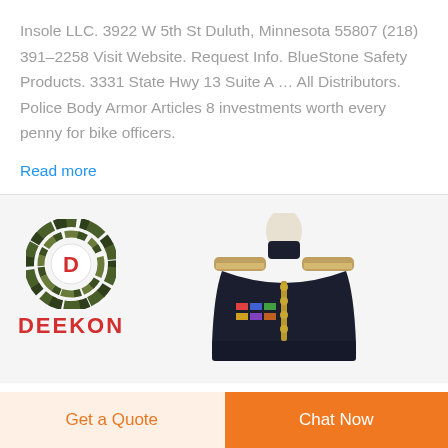Insole LLC. 3922 W 5th St Duluth, Minnesota 55807 (218) 391-2258 Visit Website. Request Info. BlueStone Safety Products. 3331 State Hwy 13 Suite A ... All Distributors. Police Body Armor Articles 8 investments worth every penny for bike officers.
Read more
[Figure (logo): DEEKON brand logo: circular camouflage-pattern emblem with a red D in the center, and red DEEKON text below]
[Figure (photo): Military dress uniform jacket, dark navy blue with gold epaulettes, medals, and brass buttons, displayed on a mannequin]